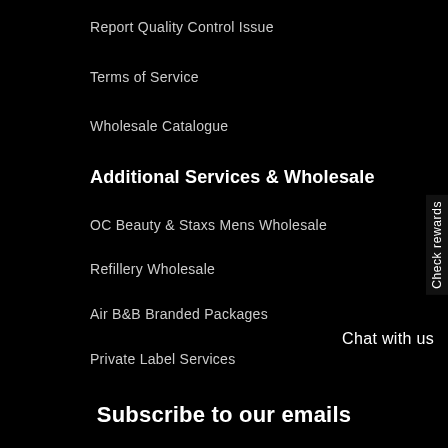Report Quality Control Issue
Terms of Service
Wholesale Catalogue
Additional Services & Wholesale
OC Beauty & Staxs Mens Wholesale
Refillery Wholesale
Air B&B Branded Packages
Private Label Services
Check rewards
Chat with us
Subscribe to our emails